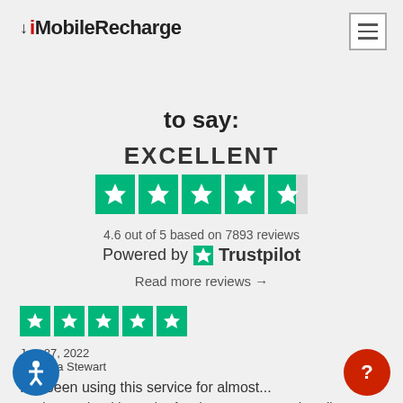MobileRecharge
to say:
EXCELLENT
[Figure (other): Trustpilot rating widget: EXCELLENT, 4.6 out of 5 based on 7893 reviews, Powered by Trustpilot star logo, Read more reviews →]
[Figure (other): 5 green Trustpilot stars for individual review]
July 27, 2022
Natasha Stewart
I've been using this service for almost...
I've been using this service for almost 5yrs to send credit to my relatives back home.